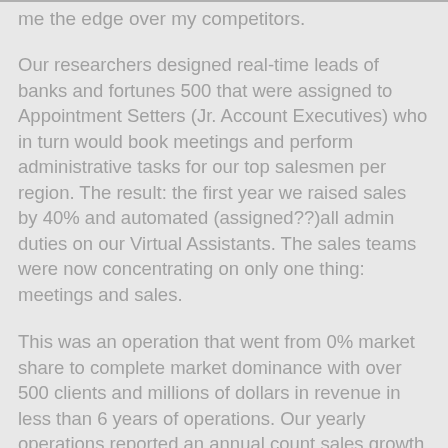me the edge over my competitors.
Our researchers designed real-time leads of banks and fortunes 500 that were assigned to Appointment Setters (Jr. Account Executives) who in turn would book meetings and perform administrative tasks for our top salesmen per region. The result: the first year we raised sales by 40% and automated (assigned??)all admin duties on our Virtual Assistants. The sales teams were now concentrating on only one thing: meetings and sales.
This was an operation that went from 0% market share to complete market dominance with over 500 clients and millions of dollars in revenue in less than 6 years of operations. Our yearly operations reported an annual count sales growth of at least 40%. How did we manage to do this? Better data in real-time combined with motivated outsourced sales teams.